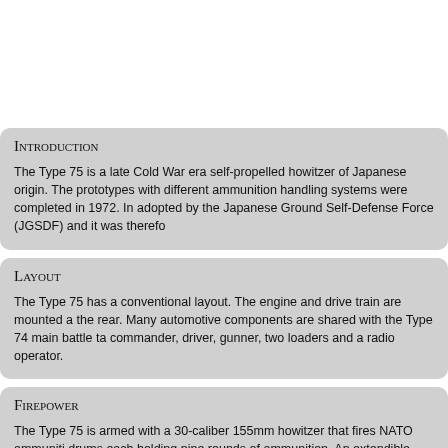Introduction
The Type 75 is a late Cold War era self-propelled howitzer of Japanese origin. The prototypes with different ammunition handling systems were completed in 1972. In adopted by the Japanese Ground Self-Defense Force (JGSDF) and it was therefo
Layout
The Type 75 has a conventional layout. The engine and drive train are mounted a the rear. Many automotive components are shared with the Type 74 main battle ta commander, driver, gunner, two loaders and a radio operator.
Firepower
The Type 75 is armed with a 30-caliber 155mm howitzer that fires NATO ammuniti drums each holding nine rounds of ammunition. An extendible loading tray and ra an US M107 projectile a range of 15 km can be achieved, while using a Japanese range of 19 km. The maximum rate of fire is 6 rounds per minute. For self defense fitted.